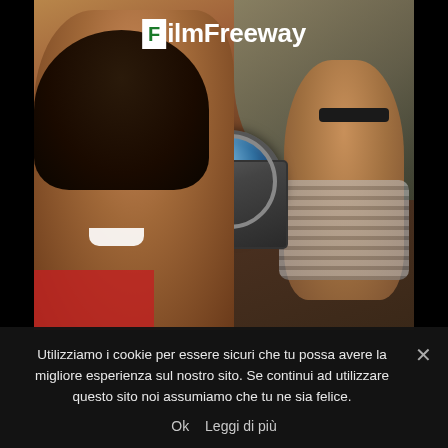[Figure (photo): FilmFreeway website screenshot showing a woman smiling while looking through a vintage film camera, with a man in sunglasses in the background. The FilmFreeway logo appears at the top of the image.]
Utilizziamo i cookie per essere sicuri che tu possa avere la migliore esperienza sul nostro sito. Se continui ad utilizzare questo sito noi assumiamo che tu ne sia felice.
Ok   Leggi di più